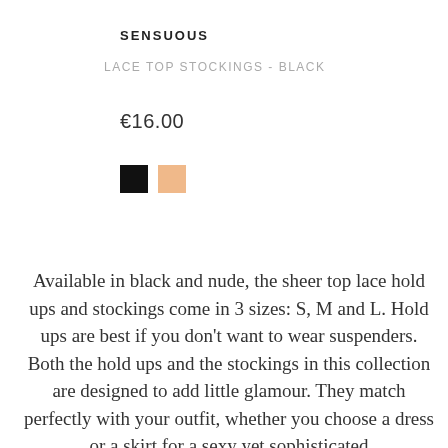SENSUOUS
LACE TOP STOCKINGS - BLACK
€16.00
[Figure (other): Two color swatches: black square and nude/peach square]
Available in black and nude, the sheer top lace hold ups and stockings come in 3 sizes: S, M and L. Hold ups are best if you don't want to wear suspenders. Both the hold ups and the stockings in this collection are designed to add little glamour. They match perfectly with your outfit, whether you choose a dress or a skirt for a sexy yet sophisticated